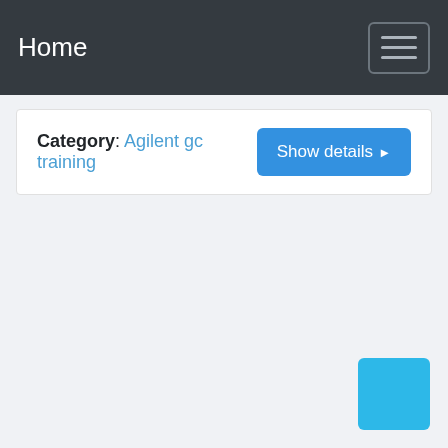Home
Category: Agilent gc training
[Figure (screenshot): Show details button with right arrow]
[Figure (other): Cyan floating action button in bottom-right corner]